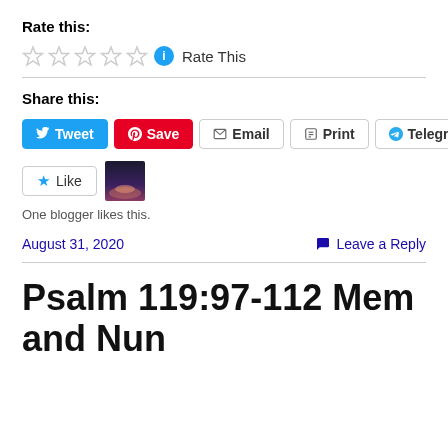Rate this:
☆ ☆ ☆ ☆ ☆ ℹ Rate This
Share this:
Tweet  Save  Email  Print  Telegram
Like
One blogger likes this.
August 31, 2020
Leave a Reply
Psalm 119:97-112 Mem and Nun